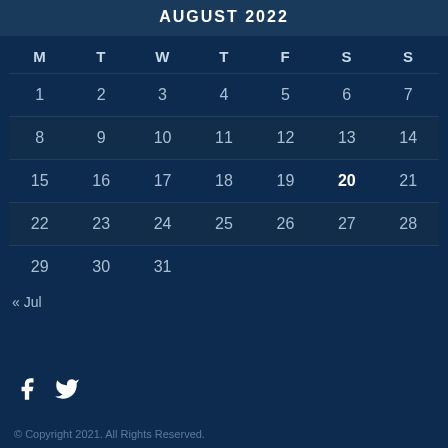AUGUST 2022
| M | T | W | T | F | S | S |
| --- | --- | --- | --- | --- | --- | --- |
| 1 | 2 | 3 | 4 | 5 | 6 | 7 |
| 8 | 9 | 10 | 11 | 12 | 13 | 14 |
| 15 | 16 | 17 | 18 | 19 | 20 | 21 |
| 22 | 23 | 24 | 25 | 26 | 27 | 28 |
| 29 | 30 | 31 |  |  |  |  |
« Jul
[Figure (illustration): Social media icons: Facebook (f) and Twitter (bird)]
© Copyright 2021. All Rights Reserved.